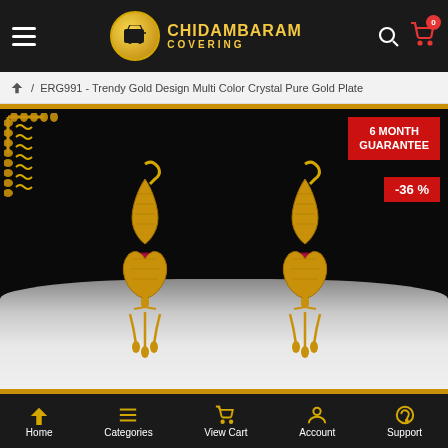CHIDAMBARAM COVERING
ERG991 - Trendy Gold Design Multi Color Crystal Pure Gold Plate
[Figure (photo): Close-up photo of a pair of gold-plated earrings with red/pink crystal centers on a dark background. A red badge reads '6 MONTH GUARANTEE' and another reads '-36 %'. Gold decorative corner ornament visible top-left.]
Home | Categories | View Cart | Account | Support